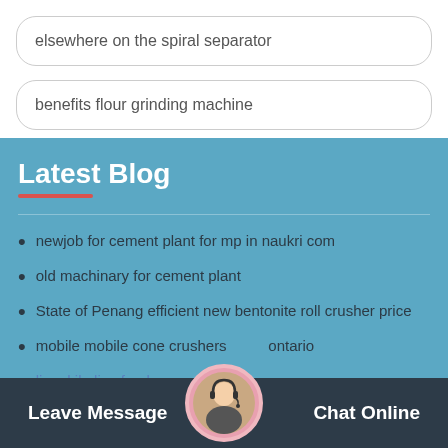elsewhere on the spiral separator
benefits flour grinding machine
Latest Blog
newjob for cement plant for mp in naukri com
old machinary for cement plant
State of Penang efficient new bentonite roll crusher price
mobile mobile cone crushers ontario
lime kiln live feeds
Leave Message  Chat Online